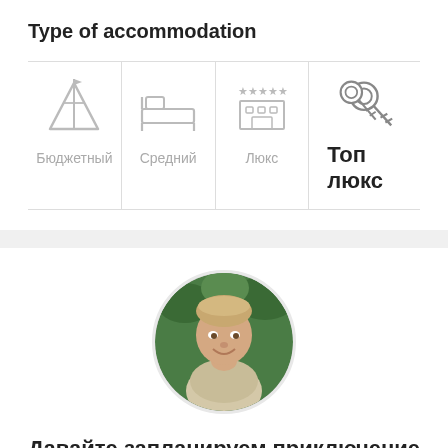Type of accommodation
[Figure (infographic): Four accommodation type icons with labels: Бюджетный (tent icon), Средний (bed icon), Люкс (luxury hotel with stars icon), Топ люкс (keys icon, bold)]
[Figure (photo): Circular portrait photo of a smiling middle-aged man in a light khaki shirt, photographed outdoors with green foliage background]
Давайте запланируем приключение в